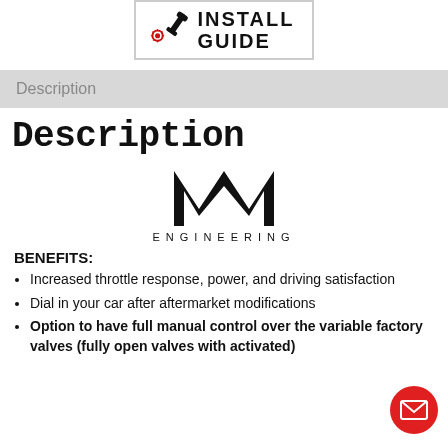[Figure (logo): Install Guide logo with wrench/gear icon and text INSTALL GUIDE in a bordered box]
Description
Description
[Figure (logo): M Engineering logo — stylized M letterform above text ENGINEERING]
BENEFITS:
Increased throttle response, power, and driving satisfaction
Dial in your car after aftermarket modifications
Option to have full manual control over the variable factory valves (fully open valves with activated)